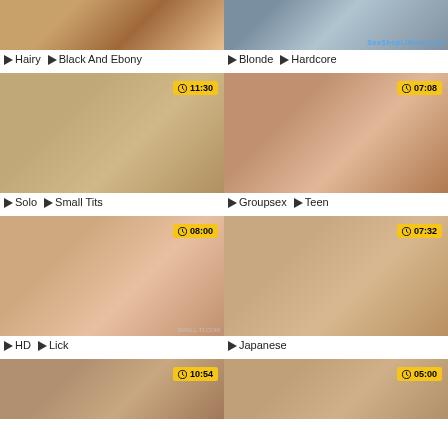[Figure (photo): Partial video thumbnail - top of page, left column]
[Figure (photo): Partial video thumbnail - top of page, right column]
Hairy  Black And Ebony
Blonde  Hardcore
[Figure (photo): Video thumbnail 11:30 - Solo Small Tits]
[Figure (photo): Video thumbnail 07:08 - Groupsex Teen]
Solo  Small Tits
Groupsex  Teen
[Figure (photo): Video thumbnail 08:00 - HD Lick]
[Figure (photo): Video thumbnail 07:32 - Japanese]
HD  Lick
Japanese
[Figure (photo): Partial video thumbnail 10:54 - bottom of page]
[Figure (photo): Partial video thumbnail 05:00 - bottom of page]